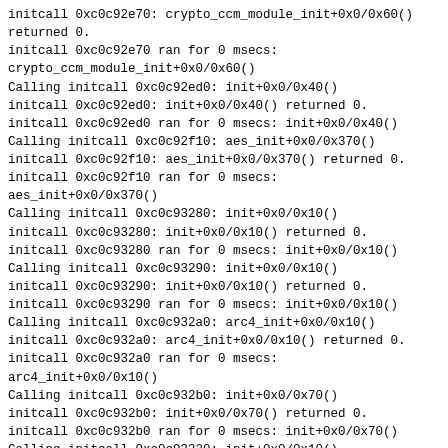initcall 0xc0c92e70: crypto_ccm_module_init+0x0/0x60() returned 0.
initcall 0xc0c92e70 ran for 0 msecs: crypto_ccm_module_init+0x0/0x60()
Calling initcall 0xc0c92ed0: init+0x0/0x40()
initcall 0xc0c92ed0: init+0x0/0x40() returned 0.
initcall 0xc0c92ed0 ran for 0 msecs: init+0x0/0x40()
Calling initcall 0xc0c92f10: aes_init+0x0/0x370()
initcall 0xc0c92f10: aes_init+0x0/0x370() returned 0.
initcall 0xc0c92f10 ran for 0 msecs: aes_init+0x0/0x370()
Calling initcall 0xc0c93280: init+0x0/0x10()
initcall 0xc0c93280: init+0x0/0x10() returned 0.
initcall 0xc0c93280 ran for 0 msecs: init+0x0/0x10()
Calling initcall 0xc0c93290: init+0x0/0x10()
initcall 0xc0c93290: init+0x0/0x10() returned 0.
initcall 0xc0c93290 ran for 0 msecs: init+0x0/0x10()
Calling initcall 0xc0c932a0: arc4_init+0x0/0x10()
initcall 0xc0c932a0: arc4_init+0x0/0x10() returned 0.
initcall 0xc0c932a0 ran for 0 msecs: arc4_init+0x0/0x10()
Calling initcall 0xc0c932b0: init+0x0/0x70()
initcall 0xc0c932b0: init+0x0/0x70() returned 0.
initcall 0xc0c932b0 ran for 0 msecs: init+0x0/0x70()
Calling initcall 0xc0c93320: init+0x0/0x10()
initcall 0xc0c93320: init+0x0/0x10() returned 0.
initcall 0xc0c93320 ran for 0 msecs: init+0x0/0x10()
Calling initcall 0xc0c93330: init+0x0/0x10()
initcall 0xc0c93330: init+0x0/0x10() returned 0.
initcall 0xc0c93330 ran for 0 msecs: init+0x0/0x10(